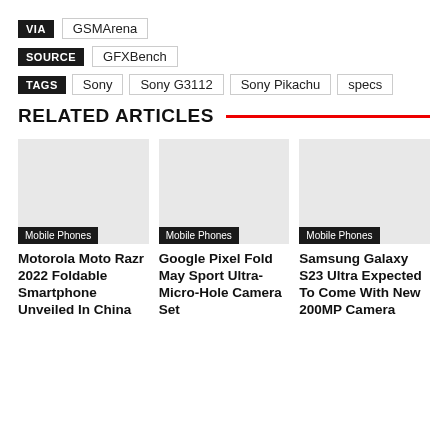VIA  GSMArena
SOURCE  GFXBench
TAGS  Sony  Sony G3112  Sony Pikachu  specs
RELATED ARTICLES
[Figure (photo): Article thumbnail image placeholder (light gray)]
Mobile Phones
Motorola Moto Razr 2022 Foldable Smartphone Unveiled In China
[Figure (photo): Article thumbnail image placeholder (light gray)]
Mobile Phones
Google Pixel Fold May Sport Ultra-Micro-Hole Camera Set
[Figure (photo): Article thumbnail image placeholder (light gray)]
Mobile Phones
Samsung Galaxy S23 Ultra Expected To Come With New 200MP Camera